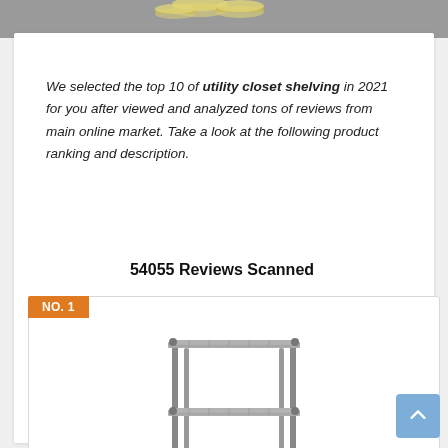[Figure (photo): Top banner image showing stacked silver coins on a gray background]
We selected the top 10 of utility closet shelving in 2021 for you after viewed and analyzed tons of reviews from main online market. Take a look at the following product ranking and description.
54055 Reviews Scanned
[Figure (photo): Product image of a metal wire utility shelving rack with two shelves and vertical poles, chrome/silver finish, shown on white background, labeled NO. 1]